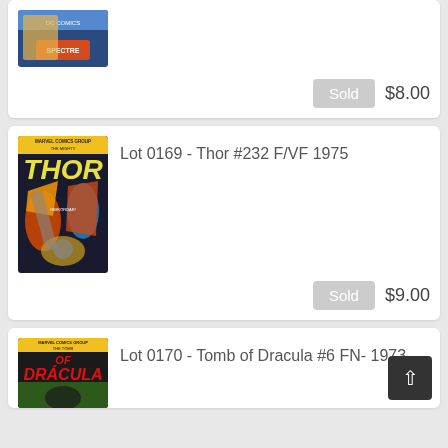[Figure (photo): Partial comic book cover visible at top - appears to be a superhero comic with 'Spectre' label]
Sold  $8.00
Lot 0169 - Thor #232 F/VF 1975
[Figure (photo): Marvel Comics Group - Thor #232 comic book cover, 1975, showing Thor in battle]
Sold  $9.00
Lot 0170 - Tomb of Dracula #6 FN- 1973
[Figure (photo): Marvel Comics Group - The Tomb of Dracula #6 comic book cover, 1973]